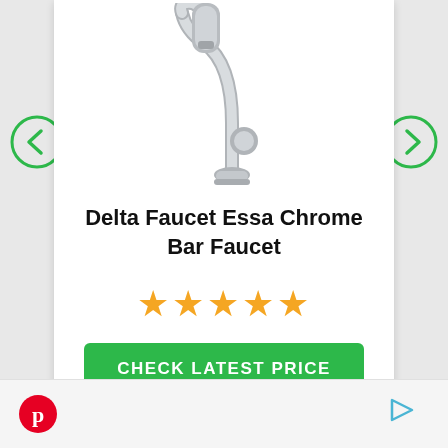[Figure (photo): Chrome kitchen/bar faucet with pull-down sprayer, shown on white background]
Delta Faucet Essa Chrome Bar Faucet
[Figure (other): Five gold stars rating]
CHECK LATEST PRICE
[Figure (logo): Pinterest logo (red circle with P)]
[Figure (other): Play/forward icon (triangle outline)]